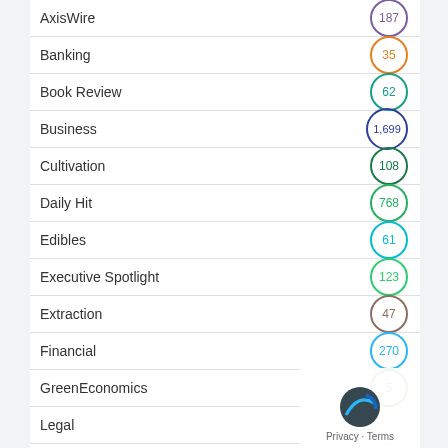AxisWire — 187
Banking — 35
Book Review — 62
Business — 1,699
Cultivation — 108
Daily Hit — 768
Edibles — 61
Executive Spotlight — 123
Extraction — 47
Financial — 270
GreenEconomics — 5
Legal
Marijuana Money